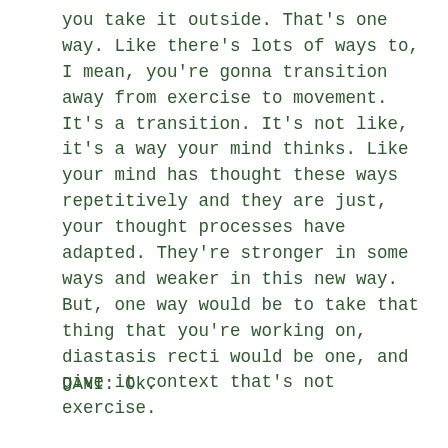you take it outside. That's one way. Like there's lots of ways to, I mean, you're gonna transition away from exercise to movement. It's a transition. It's not like, it's a way your mind thinks. Like your mind has thought these ways repetitively and they are just, your thought processes have adapted. They're stronger in some ways and weaker in this new way. But, one way would be to take that thing that you're working on, diastasis recti would be one, and give it context that's not exercise.
DANI: Ok.